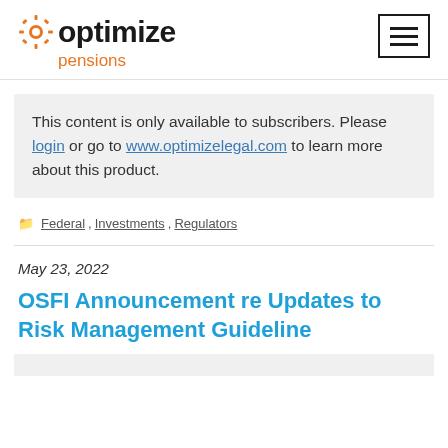optimize pensions
This content is only available to subscribers. Please login or go to www.optimizelegal.com to learn more about this product.
Federal, Investments, Regulators
May 23, 2022
OSFI Announcement re Updates to Risk Management Guideline